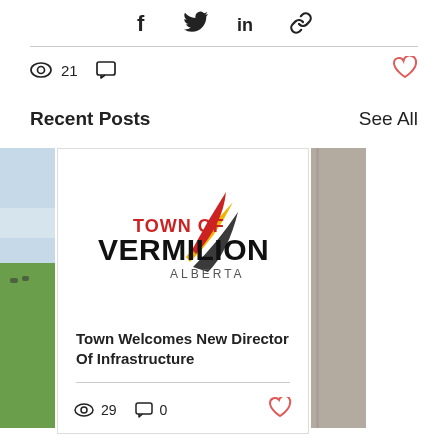[Figure (infographic): Social sharing icons: Facebook, Twitter, LinkedIn, link/chain]
21 views, 0 comments, heart/like button
Recent Posts
See All
[Figure (photo): Partial left card showing green field and sky photo]
[Figure (logo): Town of Vermilion Alberta logo with colorful leaf/flame graphic in red, yellow, black, grey]
Town Welcomes New Director Of Infrastructure
29 views, 0 comments, heart/like button
[Figure (photo): Partial right card showing grey/brown surface]